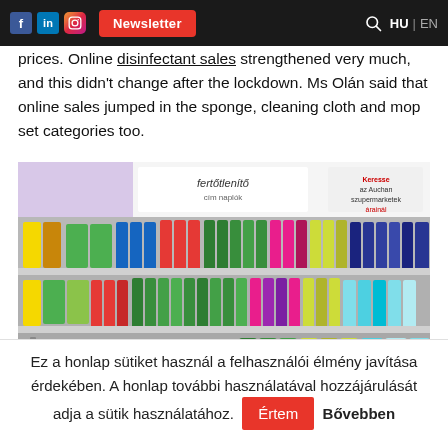f in [instagram] Newsletter HU | EN
prices. Online disinfectant sales strengthened very much, and this didn't change after the lockdown. Ms Olán said that online sales jumped in the sponge, cleaning cloth and mop set categories too.
[Figure (photo): Supermarket shelf aisle stocked with colorful cleaning products — disinfectants, detergents, sprays and bottles in yellow, green, blue, red, pink and white. A banner reading 'fertőtlenítő' (disinfectant) is visible at the top.]
Ez a honlap sütiket használ a felhasználói élmény javítása érdekében. A honlap további használatával hozzájárulását adja a sütik használatához. Értem   Bővebben